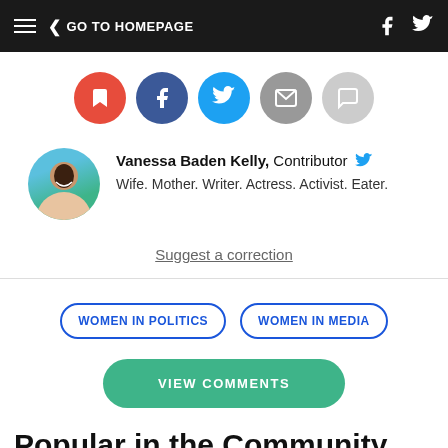GO TO HOMEPAGE
[Figure (illustration): Five circular social share buttons: bookmark (red), Facebook (dark blue), Twitter (light blue), email (gray), message (light gray)]
Vanessa Baden Kelly, Contributor — Wife. Mother. Writer. Actress. Activist. Eater.
Suggest a correction
WOMEN IN POLITICS
WOMEN IN MEDIA
VIEW COMMENTS
Popular in the Community